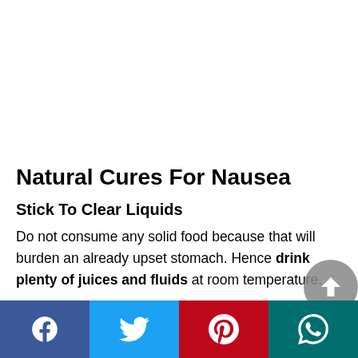Natural Cures For Nausea
Stick To Clear Liquids
Do not consume any solid food because that will burden an already upset stomach. Hence drink plenty of juices and fluids at room temperature.
[Figure (infographic): Social media share buttons bar at bottom: Facebook (blue), Twitter (light blue), Pinterest (red), WhatsApp (teal)]